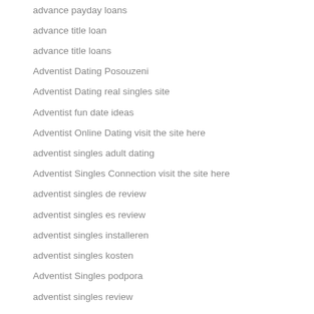advance payday loans
advance title loan
advance title loans
Adventist Dating Posouzeni
Adventist Dating real singles site
Adventist fun date ideas
Adventist Online Dating visit the site here
adventist singles adult dating
Adventist Singles Connection visit the site here
adventist singles de review
adventist singles es review
adventist singles installeren
adventist singles kosten
Adventist Singles podpora
adventist singles review